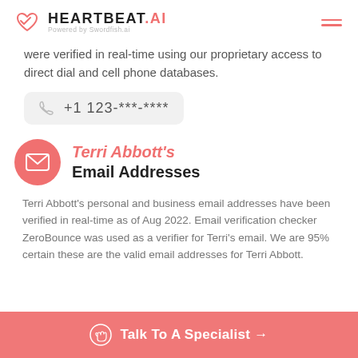HEARTBEAT.AI — Powered by Swordfish.ai
were verified in real-time using our proprietary access to direct dial and cell phone databases.
+1 123-***-****
Terri Abbott's Email Addresses
Terri Abbott's personal and business email addresses have been verified in real-time as of Aug 2022. Email verification checker ZeroBounce was used as a verifier for Terri's email. We are 95% certain these are the valid email addresses for Terri Abbott.
Talk To A Specialist →